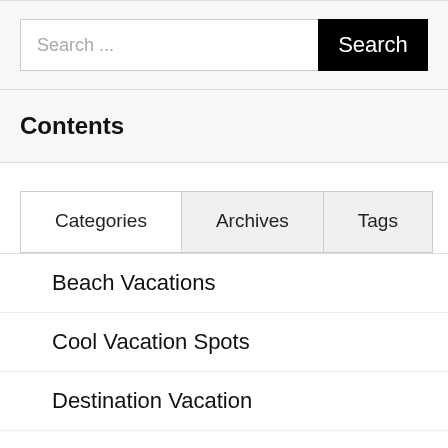Search ...
Contents
Categories | Archives | Tags
Beach Vacations
Cool Vacation Spots
Destination Vacation
Family Beach Resorts
Family Beach Location